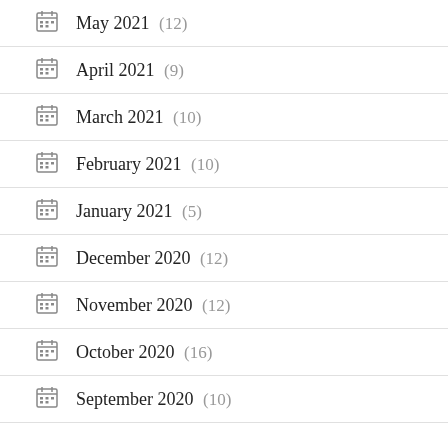May 2021 (12)
April 2021 (9)
March 2021 (10)
February 2021 (10)
January 2021 (5)
December 2020 (12)
November 2020 (12)
October 2020 (16)
September 2020 (10)